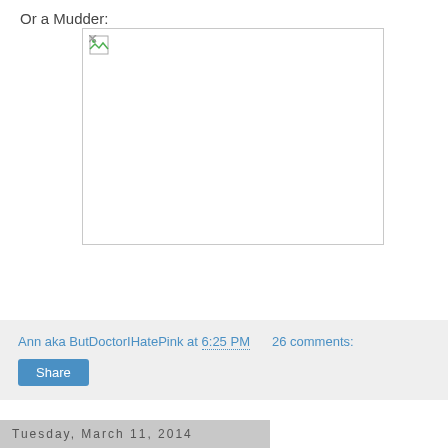Or a Mudder:
[Figure (photo): Broken image placeholder for a Mudder photo — white box with a small broken image icon in the top-left corner, thin light gray border.]
Ann aka ButDoctorIHatePink at 6:25 PM    26 comments:
Share
Tuesday, March 11, 2014